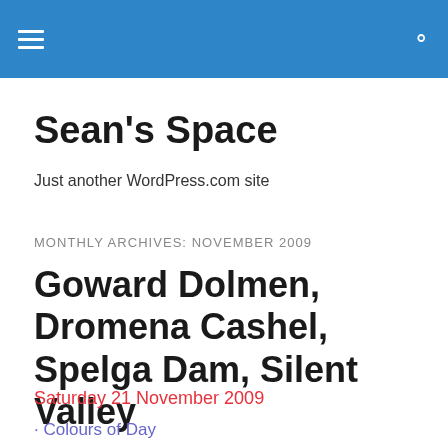Sean's Space — site header navigation bar
Sean's Space
Just another WordPress.com site
MONTHLY ARCHIVES: NOVEMBER 2009
Goward Dolmen, Dromena Cashel, Spelga Dam, Silent Valley
Saturday 21 November 2009
· Colours of Day